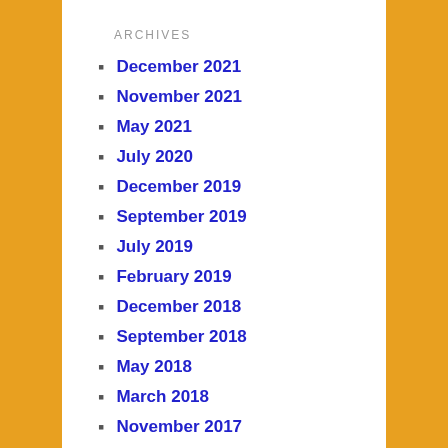ARCHIVES
December 2021
November 2021
May 2021
July 2020
December 2019
September 2019
July 2019
February 2019
December 2018
September 2018
May 2018
March 2018
November 2017
September 2017
July 2017
April 2017
March 2017
November 2016
October 2016
July 2016